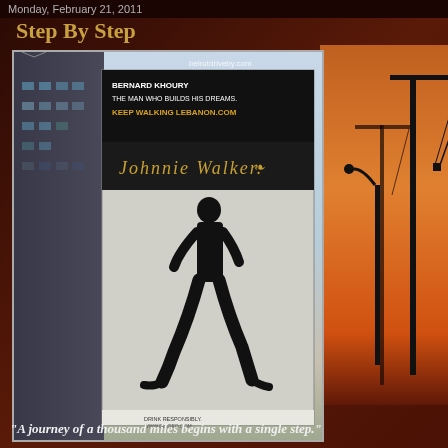Monday, February 21, 2011
Step By Step
[Figure (photo): A large Johnnie Walker billboard advertisement on the side of a building in Beirut, Lebanon. The billboard features Bernard Khoury 'The man who builds his dreams' with the text 'Keep Walking Lebanon.com' and the Johnnie Walker logo. A large silhouette of a man walking is shown on the billboard. Watermark reads beirutdriveby.com]
"A journey of a thousand miles begins with a single step."